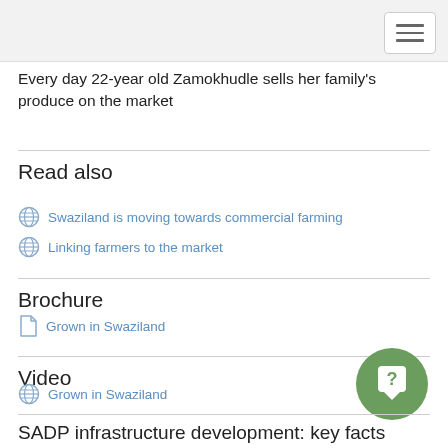Every day 22-year old Zamokhudle sells her family's produce on the market
Read also
Swaziland is moving towards commercial farming
Linking farmers to the market
Brochure
Grown in Swaziland
Video
Grown in Swaziland
SADP infrastructure development: key facts